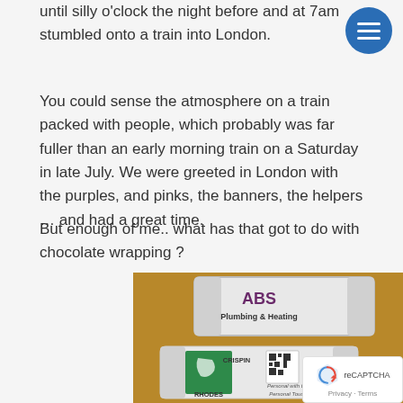until silly o'clock the night before and at 7am stumbled onto a train into London.
You could sense the atmosphere on a train packed with people, which probably was far fuller than an early morning train on a Saturday in late July. We were greeted in London with the purples, and pinks, the banners, the helpers … and had a great time.
But enough of me.. what has that got to do with chocolate wrapping ?
[Figure (photo): Two branded chocolate bars on a wooden background. Top bar has a white wrapper with 'ABS Plumbing & Heating' branding. Bottom bar shows a 'Crispin Rhodes' branded wrapper with a green logo and QR code, text reading 'Personal with the Personal Touch'.]